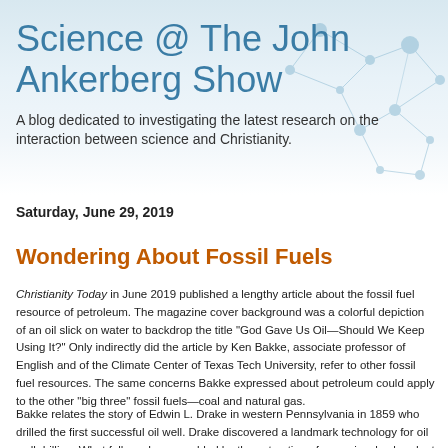Science @ The John Ankerberg Show
A blog dedicated to investigating the latest research on the interaction between science and Christianity.
Saturday, June 29, 2019
Wondering About Fossil Fuels
Christianity Today in June 2019 published a lengthy article about the fossil fuel resource of petroleum. The magazine cover background was a colorful depiction of an oil slick on water to backdrop the title “God Gave Us Oil—Should We Keep Using It?” Only indirectly did the article by Ken Bakke, associate professor of English and of the Climate Center of Texas Tech University, refer to other fossil fuel resources. The same concerns Bakke expressed about petroleum could apply to the other “big three” fossil fuels—coal and natural gas.
Bakke relates the story of Edwin L. Drake in western Pennsylvania in 1859 who drilled the first successful oil well. Drake discovered a landmark technology for oil well drilling. What followed was enabled by the extraction of a previously abundant...